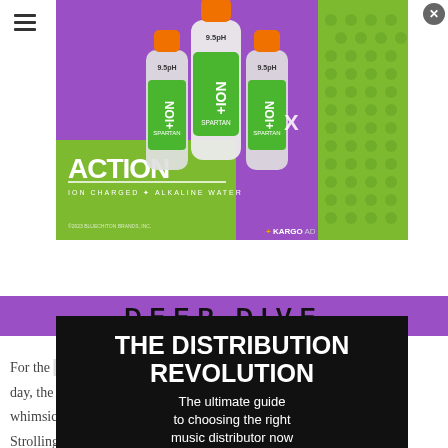[Figure (illustration): Advertisement overlay: Action ION+ Spartan water bottles (three bottles with orange caps and green labels) on a purple and green background with Action brand logo. Deep Dive section header in purple bar.]
For the ... val each day, the ... whimsic ... enue. Strolling ... to many that EDC ... nts' attention ... rground in which to revel in all the little adventures that take place in between sets.